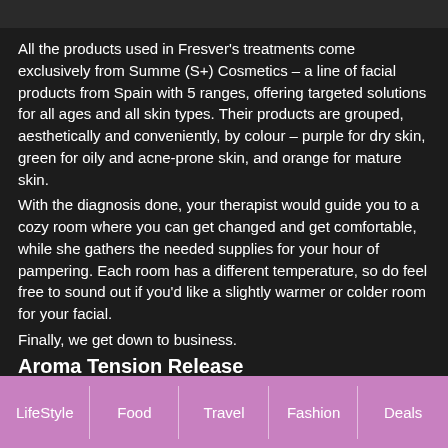[Figure (photo): Top strip showing a partial image, dark background with some light areas]
All the products used in Fresver's treatments come exclusively from Summe (S+) Cosmetics – a line of facial products from Spain with 5 ranges, offering targeted solutions for all ages and all skin types. Their products are grouped, aesthetically and conveniently, by colour – purple for dry skin, green for oily and acne-prone skin, and orange for mature skin.
With the diagnosis done, your therapist would guide you to a cozy room where you can get changed and get comfortable, while she gathers the needed supplies for your hour of pampering. Each room has a different temperature, so do feel free to sound out if you'd like a slightly warmer or colder room for your facial.
Finally, we get down to business.
Aroma Tension Release
To help you settle into your treatment, the facial starts off with
LifeStyle | Food | Travel | Fashion | Deals